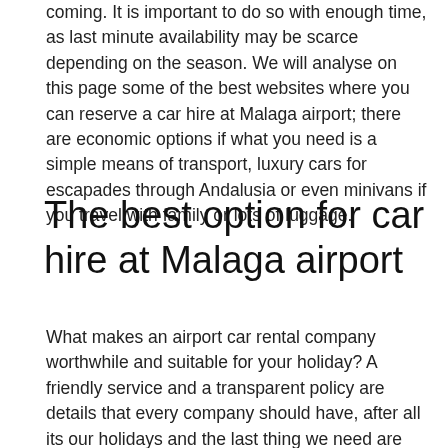coming. It is important to do so with enough time, as last minute availability may be scarce depending on the season. We will analyse on this page some of the best websites where you can reserve a car hire at Malaga airport; there are economic options if what you need is a simple means of transport, luxury cars for escapades through Andalusia or even minivans if you travel with family or lots of luggage.
The best option for car hire at Malaga airport
What makes an airport car rental company worthwhile and suitable for your holiday? A friendly service and a transparent policy are details that every company should have, after all its our holidays and the last thing we need are problems. Once you see that you have rented the car and the